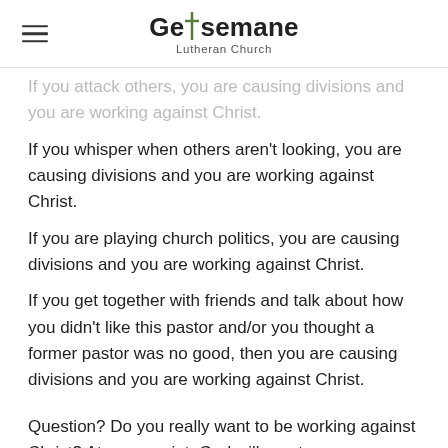Gethsemane Lutheran Church
If you attack others, you are causing divisions and you are working against Christ.
If you whisper when others aren't looking, you are causing divisions and you are working against Christ.
If you are playing church politics, you are causing divisions and you are working against Christ.
If you get together with friends and talk about how you didn't like this pastor and/or you thought a former pastor was no good, then you are causing divisions and you are working against Christ.
Question? Do you really want to be working against Christ? At some point, God will grant your